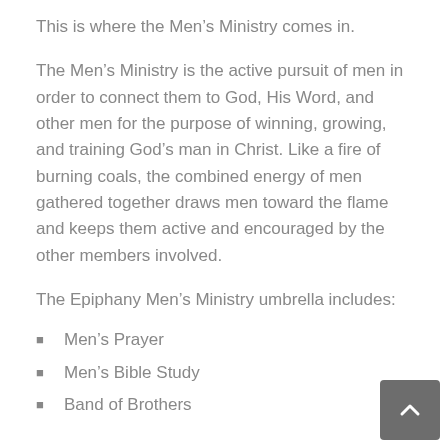This is where the Men’s Ministry comes in.
The Men’s Ministry is the active pursuit of men in order to connect them to God, His Word, and other men for the purpose of winning, growing, and training God’s man in Christ. Like a fire of burning coals, the combined energy of men gathered together draws men toward the flame and keeps them active and encouraged by the other members involved.
The Epiphany Men’s Ministry umbrella includes:
Men’s Prayer
Men’s Bible Study
Band of Brothers